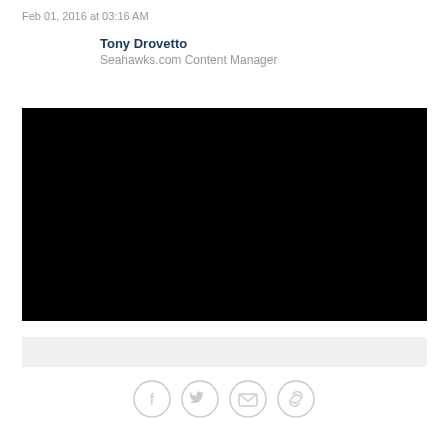Feb 01, 2016 at 03:16 AM
Tony Drovetto
Seahawks.com Content Manager
[Figure (photo): Black video player rectangle]
Social sharing icons: Facebook, Twitter, Email, Link